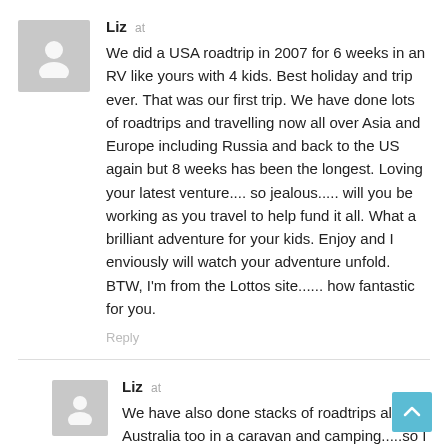[Figure (illustration): Generic user avatar placeholder icon (gray background with white silhouette)]
Liz at
We did a USA roadtrip in 2007 for 6 weeks in an RV like yours with 4 kids. Best holiday and trip ever. That was our first trip. We have done lots of roadtrips and travelling now all over Asia and Europe including Russia and back to the US again but 8 weeks has been the longest. Loving your latest venture.... so jealous..... will you be working as you travel to help fund it all. What a brilliant adventure for your kids. Enjoy and I enviously will watch your adventure unfold. BTW, I'm from the Lottos site...... how fantastic for you.
Reply
[Figure (illustration): Generic user avatar placeholder icon (gray background with white silhouette)]
Liz at
We have also done stacks of roadtrips all over Australia too in a caravan and camping.....so I understand the wanderlust.
Reply